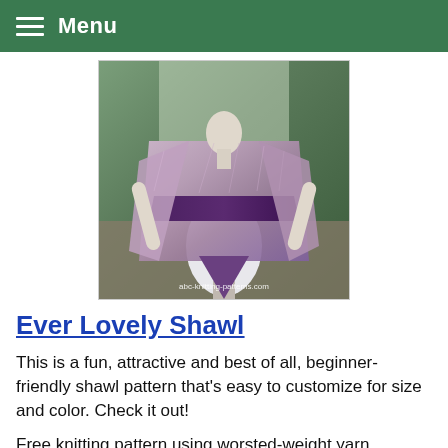Menu
[Figure (photo): A white mannequin wearing a purple and lavender shawl, displayed outdoors with evergreen trees in the background. Watermark reads abc-knitting-patterns.com]
Ever Lovely Shawl
This is a fun, attractive and best of all, beginner-friendly shawl pattern that's easy to customize for size and color. Check it out!
Free knitting pattern using worsted-weight yarn